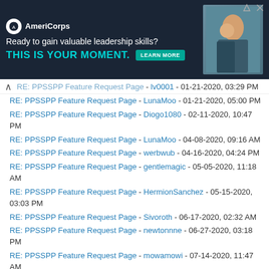[Figure (other): AmeriCorps advertisement banner with dark navy background, logo, headline 'Ready to gain valuable leadership skills?', CTA text 'THIS IS YOUR MOMENT.' in teal, 'LEARN MORE' button, and photo of people on the right.]
RE: PPSSPP Feature Request Page - lv0001 - 01-21-2020, 03:29 PM
RE: PPSSPP Feature Request Page - LunaMoo - 01-21-2020, 05:00 PM
RE: PPSSPP Feature Request Page - Diogo1080 - 02-11-2020, 10:47 PM
RE: PPSSPP Feature Request Page - LunaMoo - 04-08-2020, 09:16 AM
RE: PPSSPP Feature Request Page - werbwub - 04-16-2020, 04:24 PM
RE: PPSSPP Feature Request Page - gentlemagic - 05-05-2020, 11:18 AM
RE: PPSSPP Feature Request Page - HermionSanchez - 05-15-2020, 03:03 PM
RE: PPSSPP Feature Request Page - Sivoroth - 06-17-2020, 02:32 AM
RE: PPSSPP Feature Request Page - newtonnne - 06-27-2020, 03:18 PM
RE: PPSSPP Feature Request Page - mowamowi - 07-14-2020, 11:47 AM
RE: PPSSPP Feature Request Page - dhanushx012 - 07-26-2020, 12:12 PM
RE: PPSSPP Feature Request Page - nikkinemo95 - 07-29-2020, 03:57